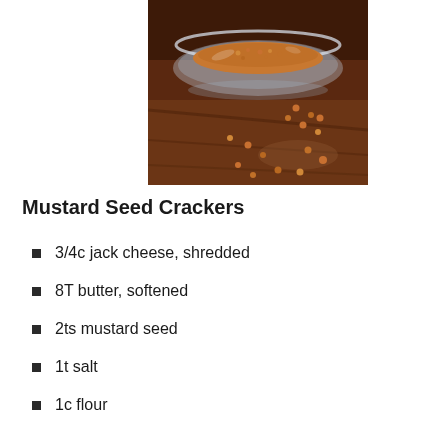[Figure (photo): A glass bowl filled with mustard seeds on a dark wooden surface, with several mustard seeds scattered around the bowl on the table.]
Mustard Seed Crackers
3/4c jack cheese, shredded
8T butter, softened
2ts mustard seed
1t salt
1c flour